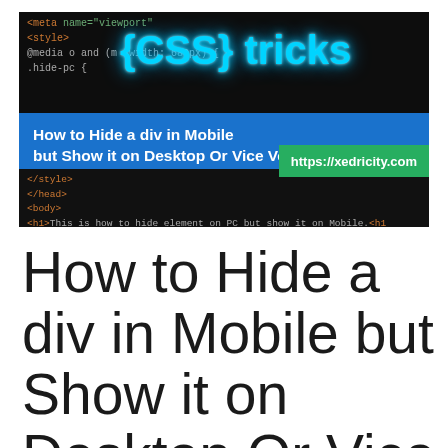[Figure (screenshot): CSS-Tricks website banner image showing code editor background with {CSS} tricks logo in cyan/teal neon text, a blue overlay bar with white bold text 'How to Hide a div in Mobile but Show it on Desktop Or Vice Versa', a green URL bar showing 'https://xedricity.com', and bottom code lines.]
How to Hide a div in Mobile but Show it on Desktop Or Vice Versa